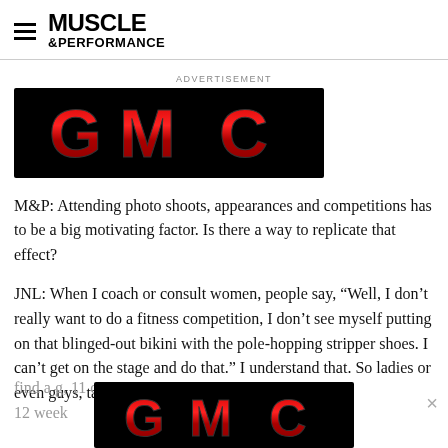MUSCLE &PERFORMANCE
ADVERTISEMENT
[Figure (logo): GMC logo on black background - red chrome lettering GMC on black rectangle]
M&P: Attending photo shoots, appearances and competitions has to be a big motivating factor. Is there a way to replicate that effect?
JNL: When I coach or consult women, people say, “Well, I don’t really want to do a fitness competition, I don’t see myself putting on that blinged-out bikini with the pole-hopping stripper shoes. I can’t get on the stage and do that.” I understand that. So ladies or even guys, take your before photo, find a g... 11 or 12 week...
[Figure (logo): GMC logo on black background - red chrome lettering GMC, overlay advertisement at bottom of page]